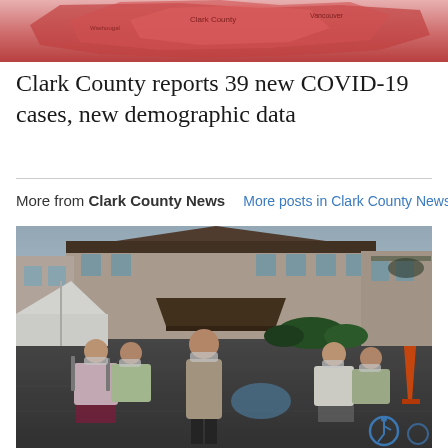[Figure (map): Partial map showing COVID-19 case distribution in Clark County region, rendered in shades of red/pink indicating case density]
Clark County reports 39 new COVID-19 cases, new demographic data
More from Clark County News   More posts in Clark County News »
[Figure (photo): Outdoor photo showing people wearing masks sitting in chairs socially distanced in a parking lot outside what appears to be an assisted living or senior care facility. A woman in a blazer stands in the center. A white tent is visible on the left, orange traffic cone on the right, and a handicap parking symbol on the ground.]